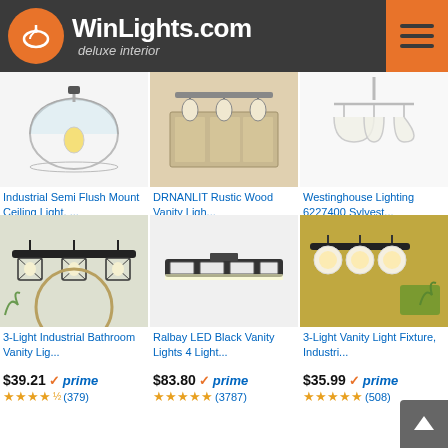WinLights.com deluxe interior
[Figure (photo): Product photo: Industrial Semi Flush Mount Ceiling Light with glass dome shade and Edison bulb]
Industrial Semi Flush Mount Ceiling Light, ...
$29.99 prime (2106 reviews)
[Figure (photo): Product photo: DRNANLIT Rustic Wood Vanity Light with multiple bulbs]
DRNANLIT Rustic Wood Vanity Ligh...
$78.99 prime (154 reviews)
[Figure (photo): Product photo: Westinghouse Lighting 6227400 Sylvester chandelier with frosted glass shades]
Westinghouse Lighting 6227400 Sylvest...
$132.99 prime (116 reviews)
[Figure (photo): Product photo: 3-Light Industrial Bathroom Vanity Light with cage shades in black]
3-Light Industrial Bathroom Vanity Lig...
$39.21 prime (379 reviews)
[Figure (photo): Product photo: Ralbay LED Black Vanity Lights 4 Light bar fixture]
Ralbay LED Black Vanity Lights 4 Light...
$83.80 prime (3787 reviews)
[Figure (photo): Product photo: 3-Light Vanity Light Fixture Industrial style in dark room setting]
3-Light Vanity Light Fixture, Industri...
$35.99 prime (508 reviews)